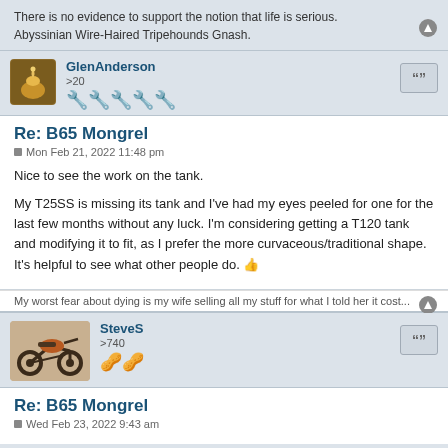There is no evidence to support the notion that life is serious.
Abyssinian Wire-Haired Tripehounds Gnash.
GlenAnderson
>20
Re: B65 Mongrel
Mon Feb 21, 2022 11:48 pm
Nice to see the work on the tank.

My T25SS is missing its tank and I've had my eyes peeled for one for the last few months without any luck. I'm considering getting a T120 tank and modifying it to fit, as I prefer the more curvaceous/traditional shape. It's helpful to see what other people do. 👍
My worst fear about dying is my wife selling all my stuff for what I told her it cost...
SteveS
>740
Re: B65 Mongrel
Wed Feb 23, 2022 9:43 am